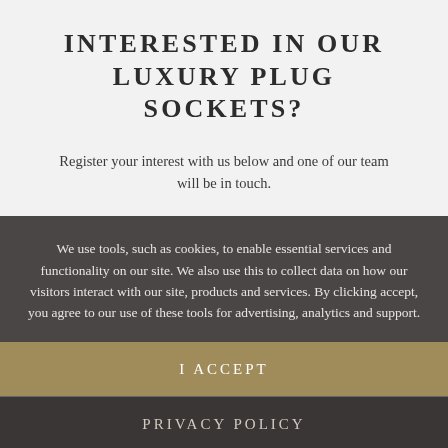INTERESTED IN OUR LUXURY PLUG SOCKETS?
Register your interest with us below and one of our team will be in touch.
We use tools, such as cookies, to enable essential services and functionality on our site. We also use this to collect data on how our visitors interact with our site, products and services. By clicking accept, you agree to our use of these tools for advertising, analytics and support.
I ACCEPT
PRIVACY POLICY